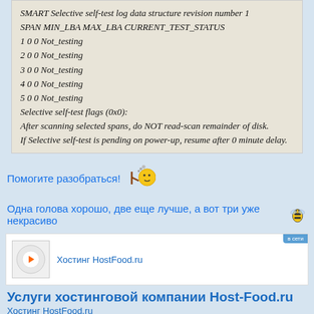SMART Selective self-test log data structure revision number 1
SPAN MIN_LBA MAX_LBA CURRENT_TEST_STATUS
1 0 0 Not_testing
2 0 0 Not_testing
3 0 0 Not_testing
4 0 0 Not_testing
5 0 0 Not_testing
Selective self-test flags (0x0):
After scanning selected spans, do NOT read-scan remainder of disk.
If Selective self-test is pending on power-up, resume after 0 minute delay.
Помогите разобраться!
Одна голова хорошо, две еще лучше, а вот три уже некрасиво
[Figure (other): Advertisement banner for Хостинг HostFood.ru with logo]
Услуги хостинговой компании Host-Food.ru
Хостинг HostFood.ru
Тарифы на хостинг в России, от 12 рублей:
https://www.host-food.ru/tariffs/hosting/